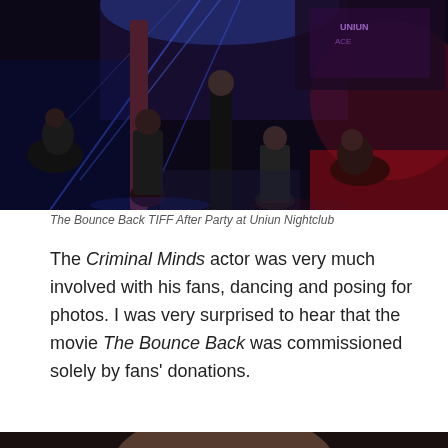[Figure (photo): Nightclub interior with blue and red lighting, people dancing and socializing at The Bounce Back TIFF After Party at Uniun Nightclub]
The Bounce Back TIFF After Party at Uniun Nightclub
The Criminal Minds actor was very much involved with his fans, dancing and posing for photos. I was very surprised to hear that the movie The Bounce Back was commissioned solely by fans' donations.
[Figure (photo): Close-up photo of a young woman with long brown hair at a nightclub event]